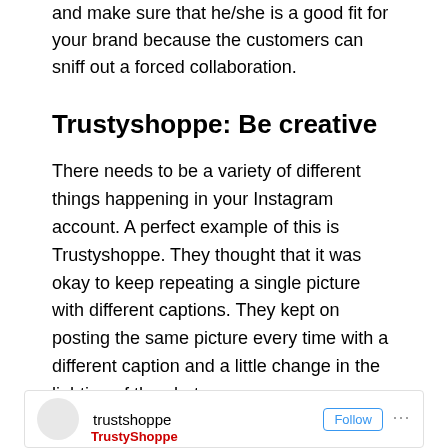and make sure that he/she is a good fit for your brand because the customers can sniff out a forced collaboration.
Trustyshoppe: Be creative
There needs to be a variety of different things happening in your Instagram account. A perfect example of this is Trustyshoppe. They thought that it was okay to keep repeating a single picture with different captions. They kept on posting the same picture every time with a different caption and a little change in the lighting of the photo.
[Figure (screenshot): Instagram profile bar showing trustyshoppe username with Follow button and three dots menu, and a red TrustyShoppe logo/text at bottom left]